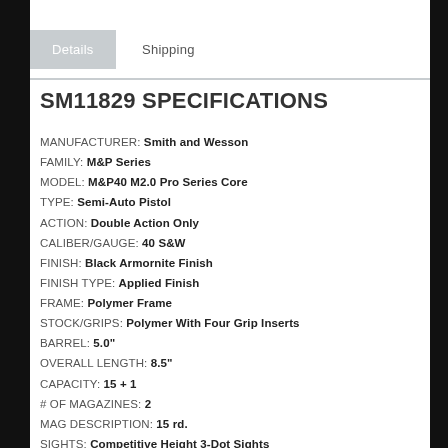Details	Shipping
SM11829 SPECIFICATIONS
MANUFACTURER: Smith and Wesson
FAMILY: M&P Series
MODEL: M&P40 M2.0 Pro Series Core
TYPE: Semi-Auto Pistol
ACTION: Double Action Only
CALIBER/GAUGE: 40 S&W
FINISH: Black Armornite Finish
FINISH TYPE: Applied Finish
FRAME: Polymer Frame
STOCK/GRIPS: Polymer With Four Grip Inserts
BARREL: 5.0"
OVERALL LENGTH: 8.5"
CAPACITY: 15 + 1
# OF MAGAZINES: 2
MAG DESCRIPTION: 15 rd.
SIGHTS: Competitive Height 3-Dot Sights